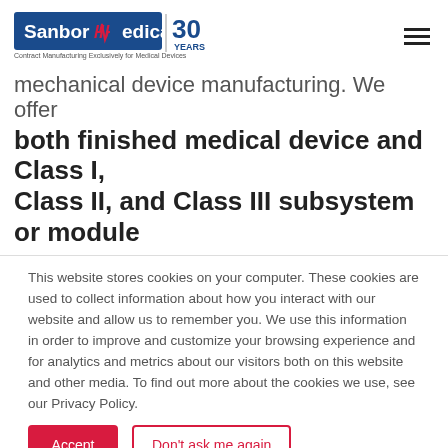[Figure (logo): Sanbor Medical logo with tagline 'Contract Manufacturing Exclusively for Medical Devices' and '30 YEARS' badge]
mechanical device manufacturing. We offer both finished medical device and Class I, Class II, and Class III subsystem or module
This website stores cookies on your computer. These cookies are used to collect information about how you interact with our website and allow us to remember you. We use this information in order to improve and customize your browsing experience and for analytics and metrics about our visitors both on this website and other media. To find out more about the cookies we use, see our Privacy Policy.
Accept
Don't ask me again